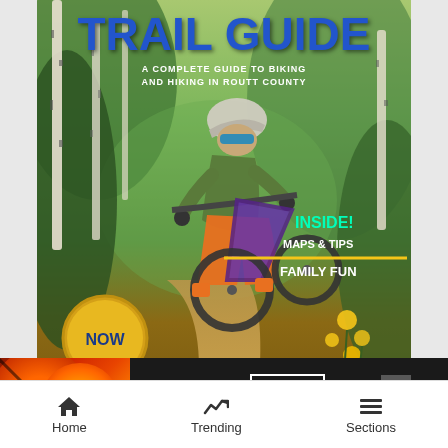[Figure (photo): Screenshot of a mobile browser showing a book cover for 'Trail Guide: A Complete Guide to Biking and Hiking in Routt County'. The cover features a mountain biker riding through forested trail. Text includes 'INSIDE! MAPS & TIPS' and 'FAMILY FUN'. A 'NOW' badge appears bottom left. An advertisement banner for Seamless food delivery appears across the bottom portion of the cover. A notification bell icon overlaps the ad. Gray margins flank the cover image.]
TRAIL GUIDE
A COMPLETE GUIDE TO BIKING AND HIKING IN ROUTT COUNTY
INSIDE!
MAPS & TIPS
FAMILY FUN
NOW
seamless   ORDER NOW
Home   Trending   Sections